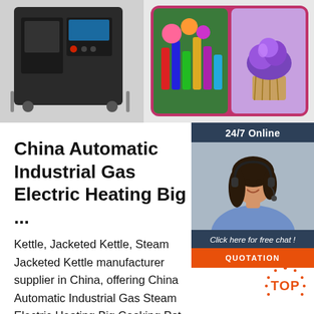[Figure (photo): Top banner showing an industrial machine on the left and colorful food/lab images on a pink/magenta background on the right]
[Figure (photo): Chat widget with '24/7 Online' header, photo of female customer service representative with headset, 'Click here for free chat!' text, and orange QUOTATION button]
China Automatic Industrial Gas Electric Heating Big ...
Kettle, Jacketed Kettle, Steam Jacketed Kettle manufacturer supplier in China, offering China Automatic Industrial Gas Steam Electric Heating Big Cooking Pot with Mixer Cooking Equipment, Jacketed Kettle for Sale, Commercial Grain Spice Herb Powder Dry Grain Grinder Machine, Dates Pitting Machine Fruit Pitting Machine Dates Seeds Removing Machine and so on.